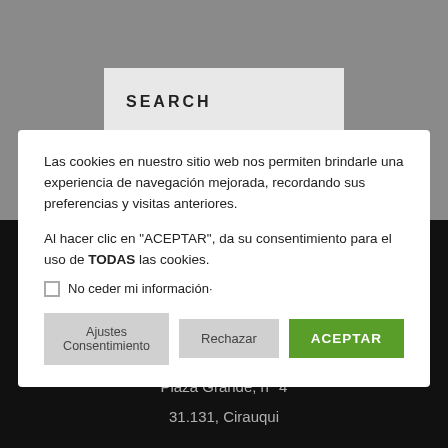[Figure (screenshot): Grey background area representing a website header with a search box]
SEARCH
Las cookies en nuestro sitio web nos permiten brindarle una experiencia de navegación mejorada, recordando sus preferencias y visitas anteriores.
Al hacer clic en "ACEPTAR", da su consentimiento para el uso de TODAS las cookies.
No ceder mi información·
Ajustes Consentimiento
Rechazar
ACEPTAR
Casa Maralotx
Plaza Grande, nº 4
31.131, Cirauqui